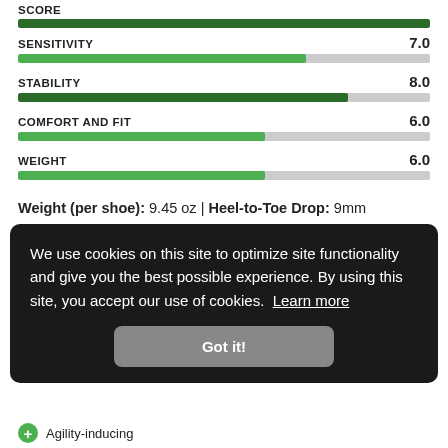[Figure (bar-chart): Scores]
Weight (per shoe): 9.45 oz | Heel-to-Toe Drop: 9mm
We use cookies on this site to optimize site functionality and give you the best possible experience. By using this site, you accept our use of cookies. Learn more
Got it!
Agility-inducing